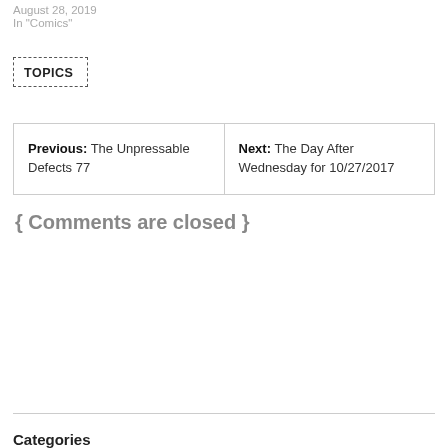August 28, 2019
In "Comics"
TOPICS
| Previous: The Unpressable Defects 77 | Next: The Day After Wednesday for 10/27/2017 |
{ Comments are closed }
Categories